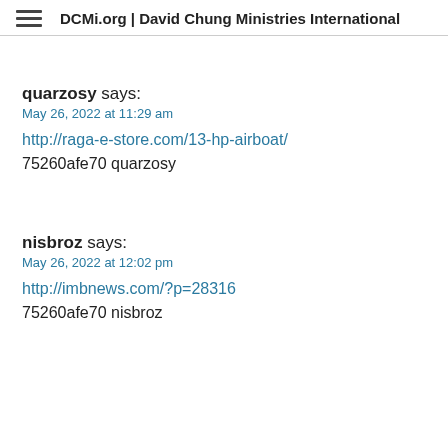DCMi.org | David Chung Ministries International
quarzosy says:
May 26, 2022 at 11:29 am
http://raga-e-store.com/13-hp-airboat/
75260afe70 quarzosy
nisbroz says:
May 26, 2022 at 12:02 pm
http://imbnews.com/?p=28316
75260afe70 nisbroz